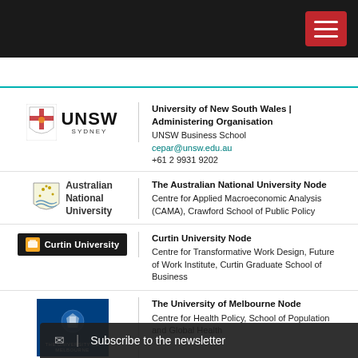[Figure (screenshot): Website screenshot with dark navigation bar at top containing hamburger menu button (red background with white lines)]
[Figure (logo): UNSW Sydney logo with shield and text]
University of New South Wales | Administering Organisation
UNSW Business School
cepar@unsw.edu.au
+61 2 9931 9202
[Figure (logo): Australian National University logo with shield]
The Australian National University Node
Centre for Applied Macroeconomic Analysis (CAMA), Crawford School of Public Policy
[Figure (logo): Curtin University logo]
Curtin University Node
Centre for Transformative Work Design, Future of Work Institute, Curtin Graduate School of Business
[Figure (logo): The University of Melbourne logo blue square]
The University of Melbourne Node
Centre for Health Policy, School of Population and Global Health
[Figure (logo): The University of Sydney logo with shield]
The University of Sydney Node
Sydney School of Public Health and Sydney
Subscribe to the newsletter